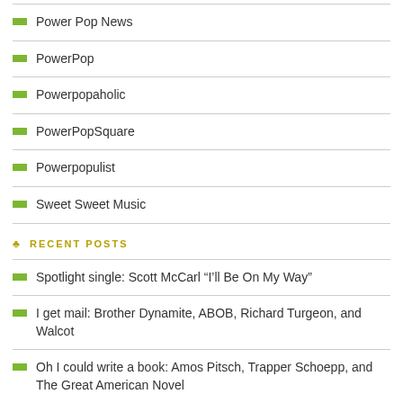Power Pop News
PowerPop
Powerpopaholic
PowerPopSquare
Powerpopulist
Sweet Sweet Music
RECENT POSTS
Spotlight single: Scott McCarl “I’ll Be On My Way”
I get mail: Brother Dynamite, ABOB, Richard Turgeon, and Walcot
Oh I could write a book: Amos Pitsch, Trapper Schoepp, and The Great American Novel
Should be a hit single: Denim “Summer Smash”
Is that a Viola I hear? On McKenna, Moore, and Jones
RECENT COMMENTS
Joe DelVecchio on Radio ready: Televisionarios